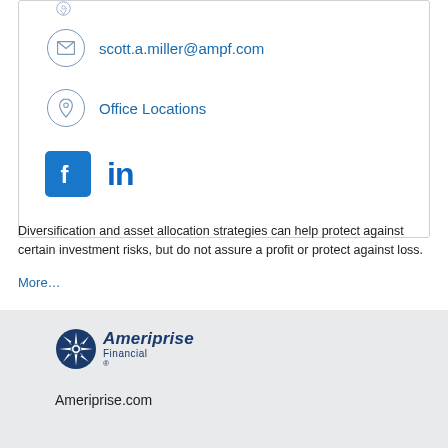scott.a.miller@ampf.com
Office Locations
[Figure (logo): Facebook and LinkedIn social media icons]
Diversification and asset allocation strategies can help protect against certain investment risks, but do not assure a profit or protect against loss.
More…
[Figure (logo): Ameriprise Financial logo with compass star icon]
Ameriprise.com